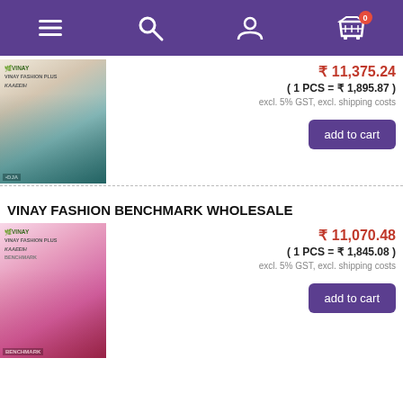[Figure (screenshot): Mobile app navigation bar with purple background showing hamburger menu, search, user profile, and shopping cart icons. Cart shows badge with 0.]
[Figure (photo): Product image of a woman in a bridal outfit with veil, VINAY brand label visible. Price shown: ₹ 11,375.24, 1 PCS = ₹ 1,895.87, excl. 5% GST excl. shipping costs, with add to cart button.]
₹ 11,375.24
( 1 PCS = ₹ 1,895.87 )
excl. 5% GST, excl. shipping costs
add to cart
VINAY FASHION BENCHMARK WHOLESALE
[Figure (photo): Product image of a woman in pink lehenga, VINAY BENCHMARK brand label visible. Price shown: ₹ 11,070.48, 1 PCS = ₹ 1,845.08, excl. 5% GST excl. shipping costs, with add to cart button.]
₹ 11,070.48
( 1 PCS = ₹ 1,845.08 )
excl. 5% GST, excl. shipping costs
add to cart